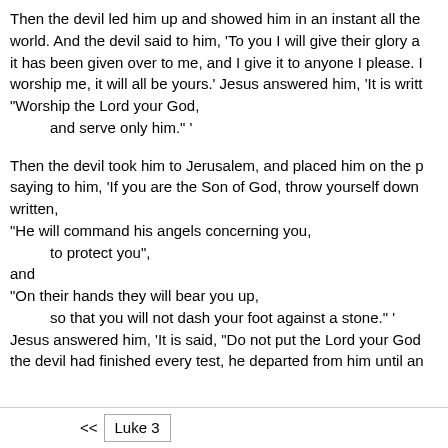Then the devil led him up and showed him in an instant all the world. And the devil said to him, 'To you I will give their glory and it has been given over to me, and I give it to anyone I please. If you worship me, it will all be yours.' Jesus answered him, 'It is written, "Worship the Lord your God,
    and serve only him." '
Then the devil took him to Jerusalem, and placed him on the pinnacle saying to him, 'If you are the Son of God, throw yourself down from here, for it is written, "He will command his angels concerning you, to protect you", and "On their hands they will bear you up, so that you will not dash your foot against a stone." ' Jesus answered him, 'It is said, "Do not put the Lord your God to the test."' When the devil had finished every test, he departed from him until an opportune time.
<< Luke 3